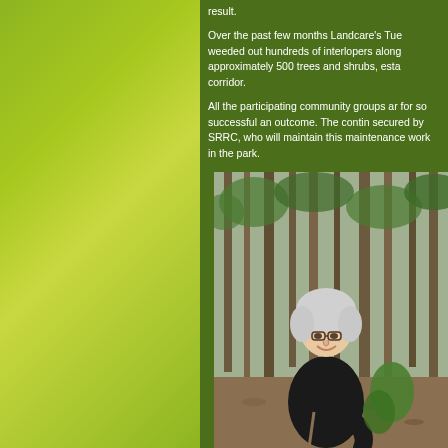result.
Over the past few months Landcare's Tuesday volunteers have weeded out hundreds of interlopers along the corridor, planted approximately 500 trees and shrubs, establishing a real green corridor.
All the participating community groups are to be congratulated for so successful an outcome. The continuation of funding was secured by SRRC, who will maintain this and continue maintenance work in the park.
[Figure (photo): A woman with short white/silver hair and glasses, wearing a black jacket, smiling in a bushland forest setting with trees and vegetation around her.]